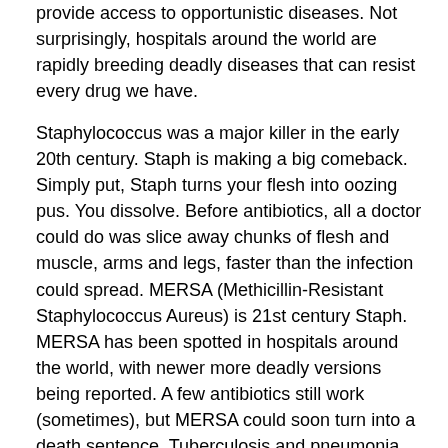provide access to opportunistic diseases. Not surprisingly, hospitals around the world are rapidly breeding deadly diseases that can resist every drug we have.
Staphylococcus was a major killer in the early 20th century. Staph is making a big comeback. Simply put, Staph turns your flesh into oozing pus. You dissolve. Before antibiotics, all a doctor could do was slice away chunks of flesh and muscle, arms and legs, faster than the infection could spread. MERSA (Methicillin-Resistant Staphylococcus Aureus) is 21st century Staph. MERSA has been spotted in hospitals around the world, with newer more deadly versions being reported. A few antibiotics still work (sometimes), but MERSA could soon turn into a death sentence. Tuberculosis and pneumonia are following this same deadly path of evolution.